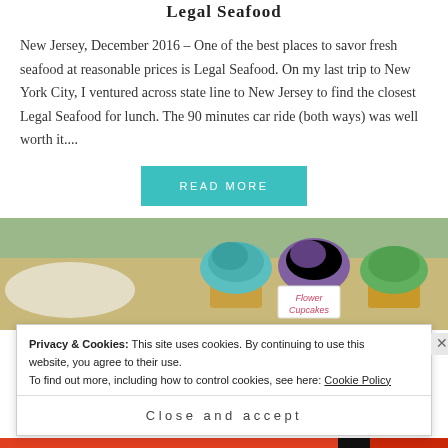Legal Seafood
New Jersey, December 2016 – One of the best places to savor fresh seafood at reasonable prices is Legal Seafood. On my last trip to New York City, I ventured across state line to New Jersey to find the closest Legal Seafood for lunch. The 90 minutes car ride (both ways) was well worth it....
READ MORE
[Figure (photo): Photo of colorful flower-shaped cupcakes with teal, purple, and green frosting displayed in a bakery case with a sign reading 'Flower Cupcakes']
Privacy & Cookies: This site uses cookies. By continuing to use this website, you agree to their use.
To find out more, including how to control cookies, see here: Cookie Policy
Close and accept